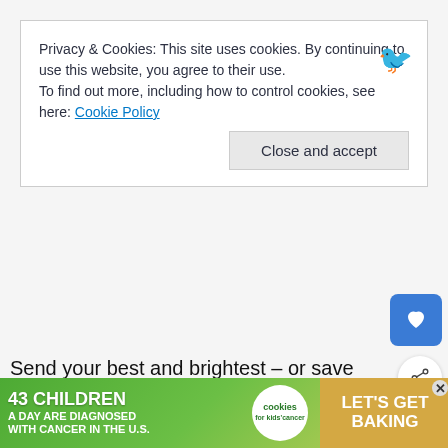Privacy & Cookies: This site uses cookies. By continuing to use this website, you agree to their use.
To find out more, including how to control cookies, see here: Cookie Policy
Close and accept
Send your best and brightest – or save them for yourself? Who ride the political line and come out ahead in this game of margins?
[Figure (screenshot): Advertisement banner: '43 CHILDREN A Day Are Diagnosed With Cancer in the U.S.' with cookies for kids cancer logo and 'Let's Get Baking' text on orange/green background]